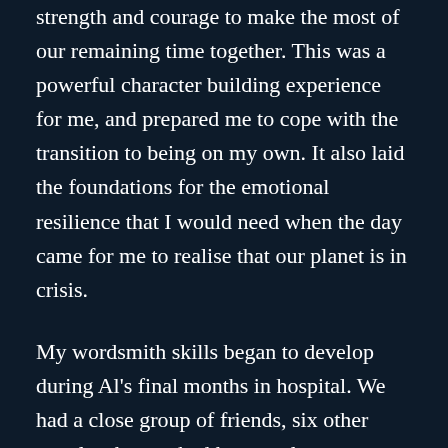strength and courage to make the most of our remaining time together. This was a powerful character building experience for me, and prepared me to cope with the transition to being on my own. It also laid the foundations for the emotional resilience that I would need when the day came for me to realise that our planet is in crisis.
My wordsmith skills began to develop during Al's final months in hospital. We had a close group of friends, six other couples that we had known almost throughout our marriage. Friendships that commenced up the pub after a beginners ballroom dancing class. Al was a proud man, and we discussed whether he would like our friends to visit in hospital. He was in a very poor way by then, and he said no. I took to emailing these friends an update after every hospital visit. These shared exchanges, with humour infused into the darkest days, gave an insight into how we interacted as couple, and added a powerful poignancy to the